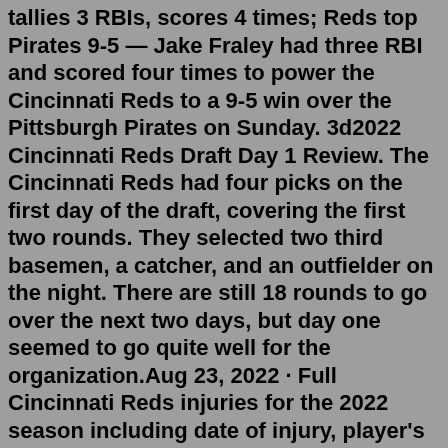tallies 3 RBIs, scores 4 times; Reds top Pirates 9-5 — Jake Fraley had three RBI and scored four times to power the Cincinnati Reds to a 9-5 win over the Pittsburgh Pirates on Sunday. 3d2022 Cincinnati Reds Draft Day 1 Review. The Cincinnati Reds had four picks on the first day of the draft, covering the first two rounds. They selected two third basemen, a catcher, and an outfielder on the night. There are still 18 rounds to go over the next two days, but day one seemed to go quite well for the organization.Aug 23, 2022 · Full Cincinnati Reds injuries for the 2022 season including date of injury, player's position and injury status. Find out the latest on your favorite MLB players on CBSSports.com. The 2022 Cincinnati Reds season is the 153rd season for the franchise in Major League Baseball, and their 20th at Great American Ball Park in Cincinnati . On December 2, 2021, Commissioner of Baseball Rob Manfred announced a lockout of players, following expiration of the collective bargaining agreement (CBA) between the league and the Major ... Cincinnati Reds Salaries